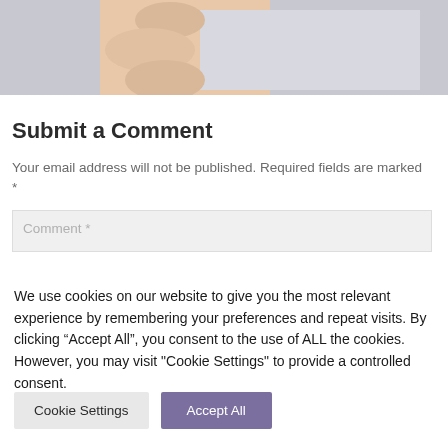[Figure (photo): Partial view of a hand holding or touching something, cropped at the top of the page, light background]
Submit a Comment
Your email address will not be published. Required fields are marked *
Comment *
We use cookies on our website to give you the most relevant experience by remembering your preferences and repeat visits. By clicking “Accept All”, you consent to the use of ALL the cookies. However, you may visit "Cookie Settings" to provide a controlled consent.
Cookie Settings
Accept All